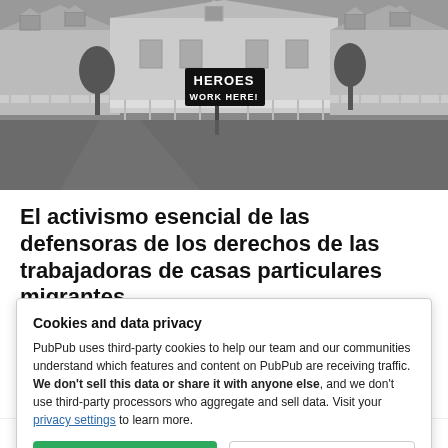[Figure (photo): Black and white photograph of a building (appears to be a healthcare or government facility) with a sign in front reading 'HEROES WORK HERE!']
El activismo esencial de las defensoras de los derechos de las trabajadoras de casas particulares migrantes
Cookies and data privacy
PubPub uses third-party cookies to help our team and our communities understand which features and content on PubPub are receiving traffic. We don't sell this data or share it with anyone else, and we don't use third-party processors who aggregate and sell data. Visit your privacy settings to learn more.
la acción política.